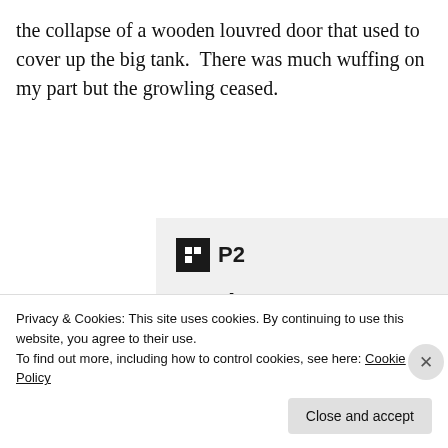the collapse of a wooden louvred door that used to cover up the big tank.  There was much wuffing on my part but the growling ceased.
[Figure (screenshot): P2 app advertisement banner: logo with dark square icon and 'P2' text, headline 'Getting your team on the same page is easy. And free.', row of user avatar circles including three photo avatars and one blue avatar.]
Privacy & Cookies: This site uses cookies. By continuing to use this website, you agree to their use.
To find out more, including how to control cookies, see here: Cookie Policy
Close and accept